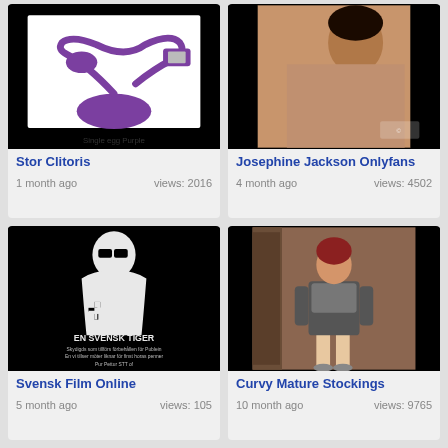[Figure (photo): Product photo of a purple USB-powered vibrating egg on white background with text 'Single egg Purple']
Stor Clitoris
1 month ago   views: 2016
[Figure (photo): Photo of a woman on a bed]
Josephine Jackson Onlyfans
4 month ago   views: 4502
[Figure (photo): Black and white poster with silhouette figure with sunglasses and swastika symbol, text 'EN SVENSK TIGER' and smaller text below]
Svensk Film Online
5 month ago   views: 105
[Figure (photo): Photo of a curvy woman in stockings standing by a door]
Curvy Mature Stockings
10 month ago   views: 9765